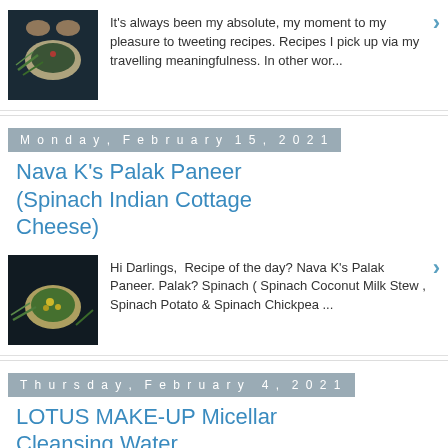[Figure (photo): Overhead photo of a bowl with greens/herbs on a dark background]
It's always been my absolute, my moment to my pleasure to tweeting recipes. Recipes I pick up via my travelling meaningfulness. In other wor...
Monday, February 15, 2021
Nava K's Palak Paneer (Spinach Indian Cottage Cheese)
[Figure (photo): Overhead photo of a bowl with spinach dish and herbs on dark background]
Hi Darlings,  Recipe of the day? Nava K's Palak Paneer. Palak? Spinach ( Spinach Coconut Milk Stew , Spinach Potato & Spinach Chickpea ...
Thursday, February 4, 2021
LOTUS MAKE-UP Micellar Cleansing Water
[Figure (photo): Photo of a gold necklace and a white bottle on dark background]
Cleansing! Cleansing your face. Of course. You should. In fact, you must for your own beauty sake. Do not, please, especially and primarily